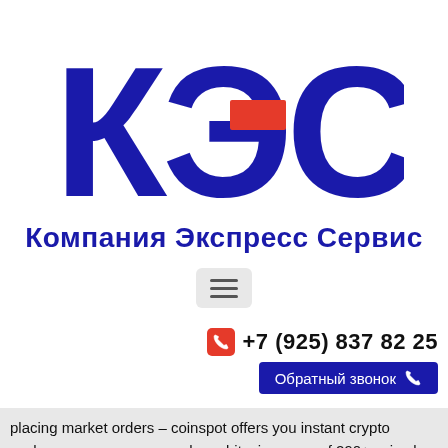[Figure (logo): КЭС logo — three large Cyrillic letters К, Э, С in dark navy blue, with a red rectangle accent on the letter Э]
Компания Экспресс Сервис
[Figure (other): Hamburger menu button icon (three horizontal lines) on a grey rounded rectangle background]
+7 (925) 837 82 25
Обратный звонок
placing market orders – coinspot offers you instant crypto exchange, so you can purchase bitcoin or any of 290+ coins by simply. 2014 · law. Coinspot – buy, sell & trade bitcoin cryptocurrency coin wallet? 1 comment. Start buying bitcoin by